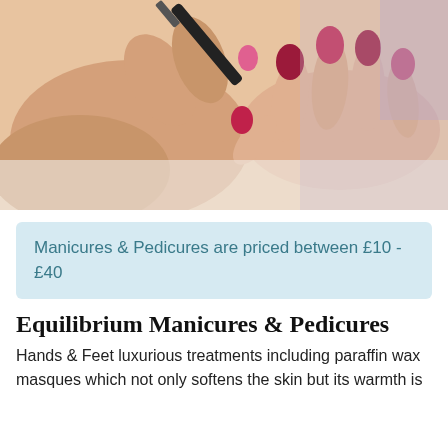[Figure (photo): Close-up of a nail technician painting a client's nails with red/dark pink nail polish, hands visible in foreground with manicured nails.]
Manicures & Pedicures are priced between £10 - £40
Equilibrium Manicures & Pedicures
Hands & Feet luxurious treatments including paraffin wax masques which not only softens the skin but its warmth is